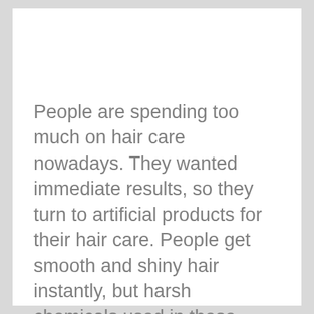People are spending too much on hair care nowadays. They wanted immediate results, so they turn to artificial products for their hair care. People get smooth and shiny hair instantly, but harsh chemicals used in these products often make our hair brittle and weak.
When combined with other frequent natural hair cleansing